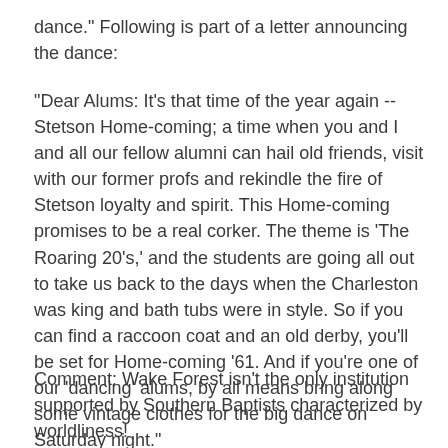dance." Following is part of a letter announcing the dance:
"Dear Alums: It's that time of the year again -- Stetson Home-coming; a time when you and I and all our fellow alumni can hail old friends, visit with our former profs and rekindle the fire of Stetson loyalty and spirit. This Home-coming promises to be a real corker. The theme is 'The Roaring 20's,' and the students are going all out to take us back to the days when the Charleston was king and bath tubs were in style. So if you can find a raccoon coat and an old derby, you'll be set for Home-coming '61. And if you're one of our 'dancing' alums, by all means bring along some vintage clothes for the big dance on Saturday night."
Comment: Wake Forest isn't the only institution supported by Southern Baptists characterized by worldliness!